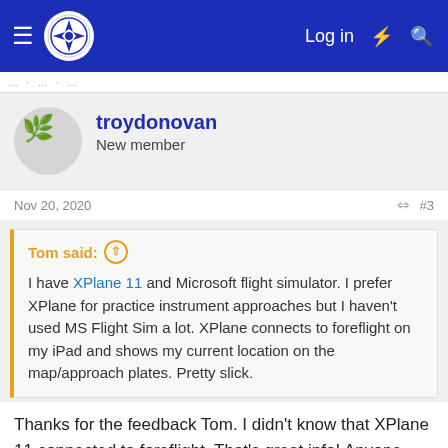Log in
troydonovan
New member
Nov 20, 2020  #3
Tom said:
I have XPlane 11 and Microsoft flight simulator. I prefer XPlane for practice instrument approaches but I haven't used MS Flight Sim a lot. XPlane connects to foreflight on my iPad and shows my current location on the map/approach plates. Pretty slick.
Thanks for the feedback Tom. I didn't know that XPlane 11 connected to foreflight. That's great info! Anyone have a 2019 Wi-Fi + Cellular and 256GB model of the 11-inch iPad Pro for sale?
Nick C